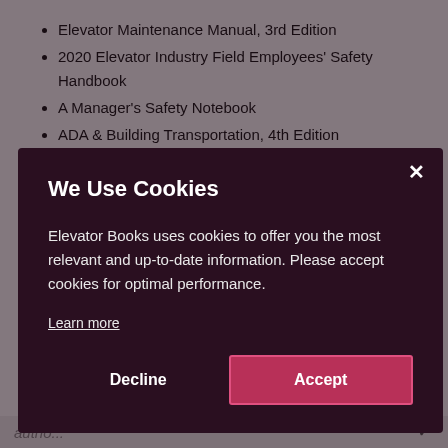Elevator Maintenance Manual, 3rd Edition
2020 Elevator Industry Field Employees' Safety Handbook
A Manager's Safety Notebook
ADA & Building Transportation, 4th Edition
2014 Installation Manual
We Use Cookies
Elevator Books uses cookies to offer you the most relevant and up-to-date information. Please accept cookies for optimal performance.
Learn more
Decline
Accept